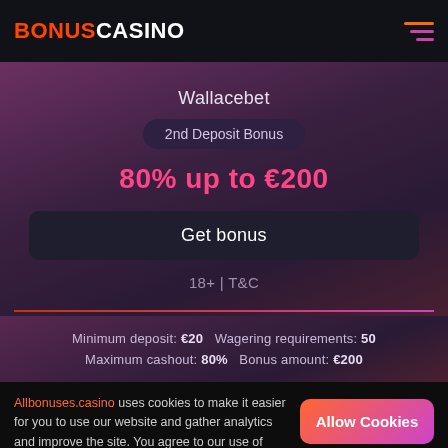BONUSCASINO
Wallacebet
2nd Deposit Bonus
80% up to €200
Get bonus
18+ | T&C
Minimum deposit: €20   Wagering requirements: 50
Maximum cashout: 80%   Bonus amount: €200
Allbonuses.casino uses cookies to make it easier for you to use our website and gather analytics and improve the site. You agree to our use of cookies by clicking the "Allow Cookies" button or continuing to use our website. To find out more, see our Privacy Policy.
Allow Cookies